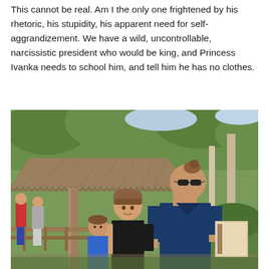This cannot be real. Am I the only one frightened by his rhetoric, his stupidity, his apparent need for self-aggrandizement. We have a wild, uncontrollable, narcissistic president who would be king, and Princess Ivanka needs to school him, and tell him he has no clothes.
[Figure (photo): Outdoor photo showing a woman with sunglasses and hair in a bun wearing a navy blue t-shirt, sitting with two young children in front of a thatched-roof structure, surrounded by trees and greenery. Other visitors visible in the background.]